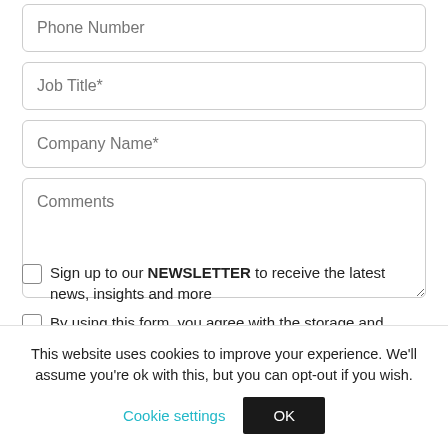Phone Number
Job Title*
Company Name*
Comments
Sign up to our NEWSLETTER to receive the latest news, insights and more
By using this form, you agree with the storage and
This website uses cookies to improve your experience. We'll assume you're ok with this, but you can opt-out if you wish.
Cookie settings
OK